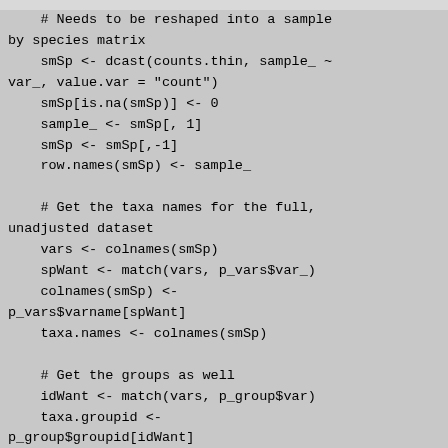# Needs to be reshaped into a sample by species matrix
    smSp <- dcast(counts.thin, sample_ ~
var_, value.var = "count")
    smSp[is.na(smSp)] <- 0
    sample_ <- smSp[, 1]
    smSp <- smSp[,-1]
    row.names(smSp) <- sample_

    # Get the taxa names for the full, unadjusted dataset
    vars <- colnames(smSp)
    spWant <- match(vars, p_vars$var_)
    colnames(smSp) <-
p_vars$varname[spWant]
    taxa.names <- colnames(smSp)

    # Get the groups as well
    idWant <- match(vars, p_group$var)
    taxa.groupid <-
p_group$groupid[idWant]